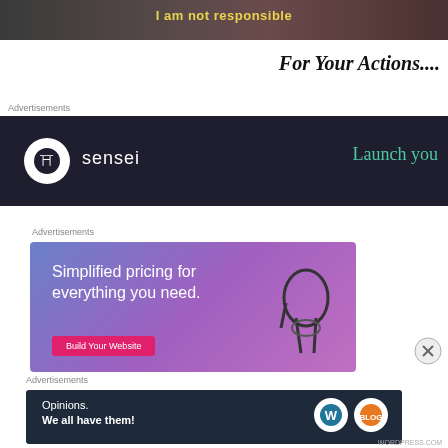[Figure (screenshot): Partial screenshot of a dark-toned image with yellow bold text reading 'I am not responsible']
For Your Actions....
Advertisements
[Figure (screenshot): Sensei advertisement banner with dark background, white circle logo, 'sensei' text and 'Launch you' teal text on the right]
Advertisements
[Figure (screenshot): WooCommerce/WordPress advertisement with purple-blue gradient, white text reading 'Simplified pricing for everything you need.' with a pink button and hand holding glasses graphic]
[Figure (other): Close/dismiss button (X in circle) overlay]
Advertisements
[Figure (screenshot): WordPress advertisement banner with dark navy background, white text 'Opinions. We all have them!' and WordPress and blog logos on the right]